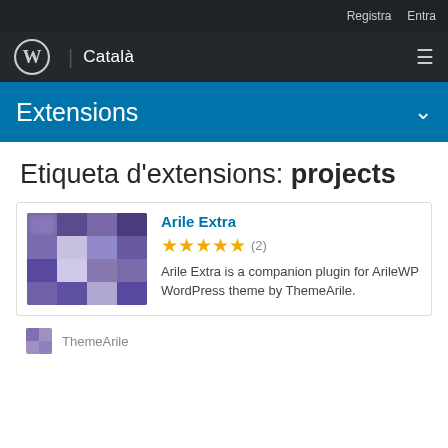Registra  Entra
WordPress | Català
Extensions
Etiqueta d'extensions: projects
[Figure (illustration): Blurred purple/violet pixelated thumbnail image for Arile Extra plugin]
Arile Extra
★★★★★ (2)
Arile Extra is a companion plugin for ArileWP WordPress theme by ThemeArile.
ThemeArile